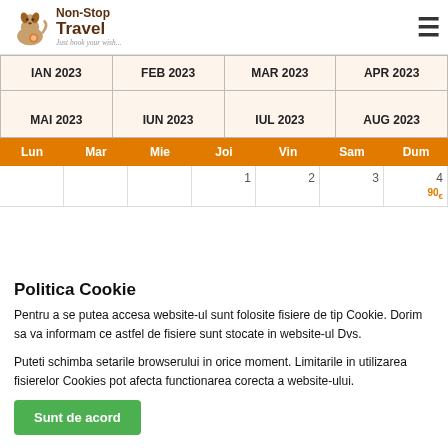[Figure (logo): Non-Stop Travel logo with dog illustration and tagline 'Just book your wish...']
| IAN 2023 | FEB 2023 | MAR 2023 | APR 2023 |
| --- | --- | --- | --- |
| MAI 2023 | IUN 2023 | IUL 2023 | AUG 2023 |
| Lun | Mar | Mie | Joi | Vin | Sam | Dum |
| --- | --- | --- | --- | --- | --- | --- |
|  |  |  | 1 | 2 | 3 | 4 |
Politica Cookie
Pentru a se putea accesa website-ul sunt folosite fisiere de tip Cookie. Dorim sa va informam ce astfel de fisiere sunt stocate in website-ul Dvs.
Puteti schimba setarile browserului in orice moment. Limitarile in utilizarea fisierelor Cookies pot afecta functionarea corecta a website-ului.
Sunt de acord